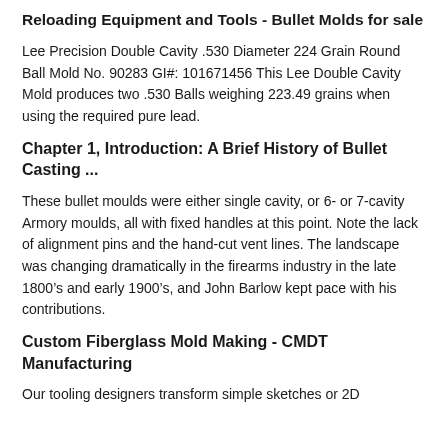Reloading Equipment and Tools - Bullet Molds for sale
Lee Precision Double Cavity .530 Diameter 224 Grain Round Ball Mold No. 90283 GI#: 101671456 This Lee Double Cavity Mold produces two .530 Balls weighing 223.49 grains when using the required pure lead.
Chapter 1, Introduction: A Brief History of Bullet Casting ...
These bullet moulds were either single cavity, or 6- or 7-cavity Armory moulds, all with fixed handles at this point. Note the lack of alignment pins and the hand-cut vent lines. The landscape was changing dramatically in the firearms industry in the late 1800’s and early 1900’s, and John Barlow kept pace with his contributions.
Custom Fiberglass Mold Making - CMDT Manufacturing
Our tooling designers transform simple sketches or 2D